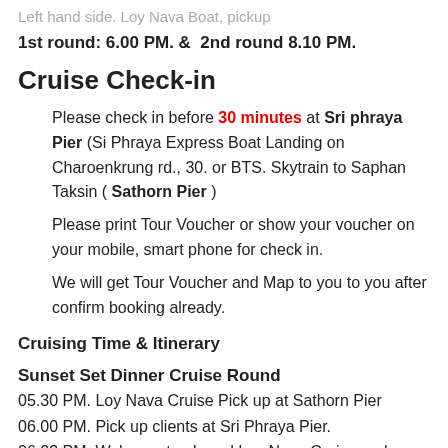Left hand side. Loy Nava Boat, pickup ...
1st round: 6.00 PM. & 2nd round 8.10 PM.
Cruise Check-in
Please check in before 30 minutes at Sri phraya Pier (Si Phraya Express Boat Landing on Charoenkrung rd., 30. or BTS. Skytrain to Saphan Taksin ( Sathorn Pier )
Please print Tour Voucher or show your voucher on your mobile, smart phone for check in.
We will get Tour Voucher and Map to you to you after confirm booking already.
Cruising Time & Itinerary
Sunset Set Dinner Cruise Round
05.30 PM. Loy Nava Cruise Pick up at Sathorn Pier
06.00 PM. Pick up clients at Sri Phraya Pier.
06.03 PM. Welcome to aboard Loy Nava Cruise and Departure from Sri phraya Pier.